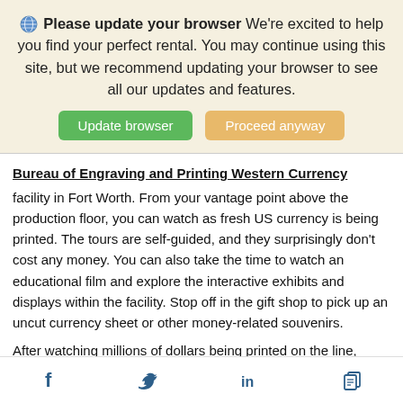Please update your browser We're excited to help you find your perfect rental. You may continue using this site, but we recommend updating your browser to see all our updates and features.
Update browser | Proceed anyway
Bureau of Engraving and Printing Western Currency
facility in Fort Worth. From your vantage point above the production floor, you can watch as fresh US currency is being printed. The tours are self-guided, and they surprisingly don't cost any money. You can also take the time to watch an educational film and explore the interactive exhibits and displays within the facility. Stop off in the gift shop to pick up an uncut currency sheet or other money-related souvenirs.
After watching millions of dollars being printed on the line,
Facebook | Twitter | LinkedIn | Copy